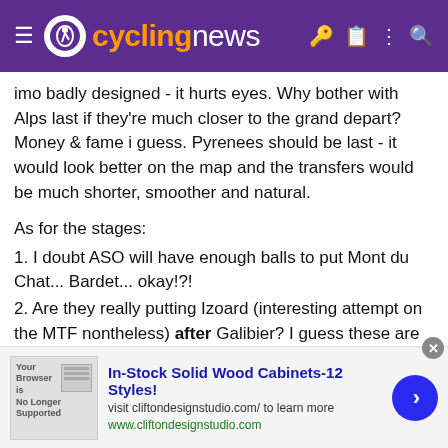cyclingnews
imo badly designed - it hurts eyes. Why bother with Alps last if they're much closer to the grand depart? Money & fame i guess. Pyrenees should be last - it would look better on the map and the transfers would be much shorter, smoother and natural.

As for the stages:
1. I doubt ASO will have enough balls to put Mont du Chat... Bardet... okay!?!
2. Are they really putting Izoard (interesting attempt on the MTF nontheless) after Galibier? I guess these are the times when even Galibier is reduced to a transitional stage. Maybe the 3rd week and Contadors manage to create something but i can only see a meaningless french climber/Nibali push and Quintana glued to Froome's wheel.
3. This Serre-Chevalier seems to be more indicating into La Salle-les-Alpes than Briançon (roughly 10km closer to Galibier) which is good
[Figure (screenshot): Advertisement banner for In-Stock Solid Wood Cabinets - 12 Styles from cliftondesignstudio.com]